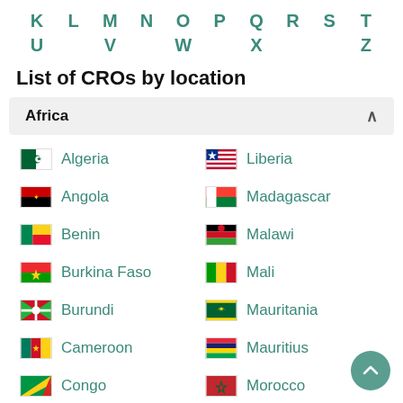K L M N O P Q R S T U V W X Z
List of CROs by location
Africa
Algeria
Liberia
Angola
Madagascar
Benin
Malawi
Burkina Faso
Mali
Burundi
Mauritania
Cameroon
Mauritius
Congo
Morocco